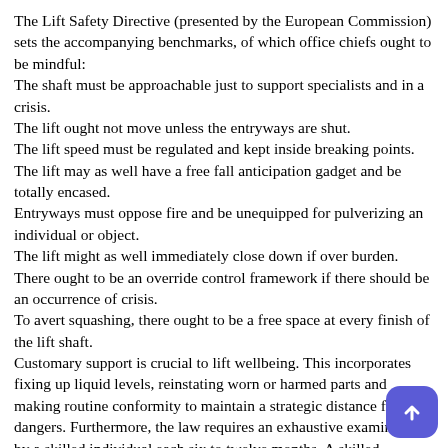The Lift Safety Directive (presented by the European Commission) sets the accompanying benchmarks, of which office chiefs ought to be mindful: The shaft must be approachable just to support specialists and in a crisis. The lift ought not move unless the entryways are shut. The lift speed must be regulated and kept inside breaking points. The lift may as well have a free fall anticipation gadget and be totally encased. Entryways must oppose fire and be unequipped for pulverizing an individual or object. The lift might as well immediately close down if over burden. There ought to be an override control framework if there should be an occurrence of crisis. To avert squashing, there ought to be a free space at every finish of the lift shaft. Customary support is crucial to lift wellbeing. This incorporates fixing up liquid levels, reinstating worn or harmed parts and making routine conformity to maintain a strategic distance from dangers. Furthermore, the law requires an exhaustive examination by a skilled individual each six to twelve months. A skilled individual has sufficient specialized and useful information of lift to discover absconds and survey their dangers. This singular ought to be fair minded and autonomous to guarantee a target